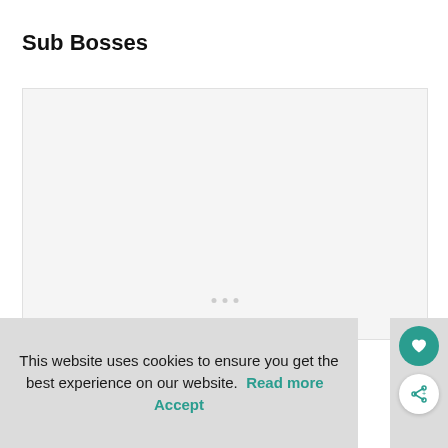Sub Bosses
[Figure (other): A light gray placeholder image area with three small dots near the bottom center, indicating a loading or empty content area with a slideshow indicator.]
This website uses cookies to ensure you get the best experience on our website. Read more Accept